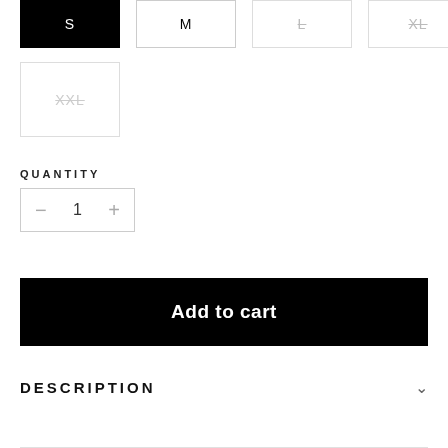S (selected), M (available), L (unavailable), XL (unavailable)
XXL (unavailable)
QUANTITY
− 1 +
Add to cart
DESCRIPTION